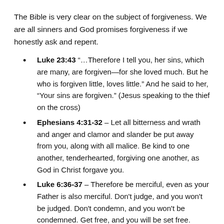The Bible is very clear on the subject of forgiveness. We are all sinners and God promises forgiveness if we honestly ask and repent.
Luke 23:43 “…Therefore I tell you, her sins, which are many, are forgiven—for she loved much. But he who is forgiven little, loves little.” And he said to her, “Your sins are forgiven.” (Jesus speaking to the thief on the cross)
Ephesians 4:31-32 – Let all bitterness and wrath and anger and clamor and slander be put away from you, along with all malice. Be kind to one another, tenderhearted, forgiving one another, as God in Christ forgave you.
Luke 6:36-37 – Therefore be merciful, even as your Father is also merciful. Don’t judge, and you won’t be judged. Don’t condemn, and you won’t be condemned. Get free, and you will be set free.